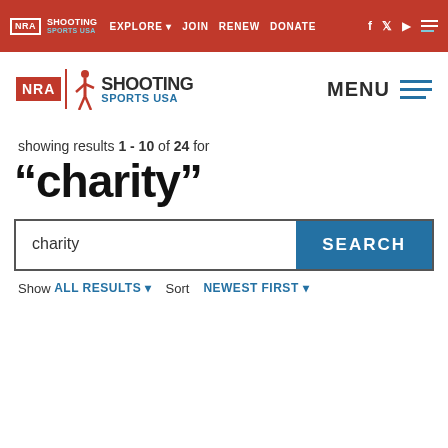NRA EXPLORE JOIN RENEW DONATE
[Figure (logo): NRA Shooting Sports USA logo with red NRA box and shooter silhouette]
showing results 1 - 10 of 24 for
“charity”
charity SEARCH
Show ALL RESULTS ▾  Sort NEWEST FIRST ▾